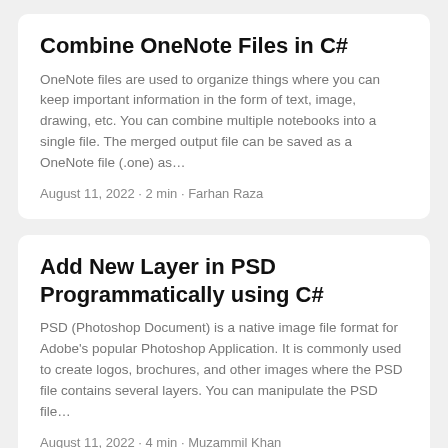Combine OneNote Files in C#
OneNote files are used to organize things where you can keep important information in the form of text, image, drawing, etc. You can combine multiple notebooks into a single file. The merged output file can be saved as a OneNote file (.one) as…
August 11, 2022 · 2 min · Farhan Raza
Add New Layer in PSD Programmatically using C#
PSD (Photoshop Document) is a native image file format for Adobe's popular Photoshop Application. It is commonly used to create logos, brochures, and other images where the PSD file contains several layers. You can manipulate the PSD file…
August 11, 2022 · 4 min · Muzammil Khan